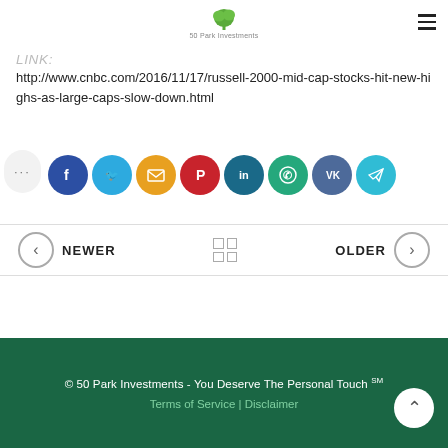50 Park Investments
LINK:
http://www.cnbc.com/2016/11/17/russell-2000-mid-cap-stocks-hit-new-highs-as-large-caps-slow-down.html
[Figure (infographic): Social share buttons row: Facebook (dark blue), Twitter (light blue), Email (orange), Pinterest (red), LinkedIn (dark teal), WhatsApp (green), VK (slate blue), Telegram (light teal). Also a '...' dots bubble on the left.]
NEWER | grid icon | OLDER
© 50 Park Investments - You Deserve The Personal Touch ℠
Terms of Service | Disclaimer